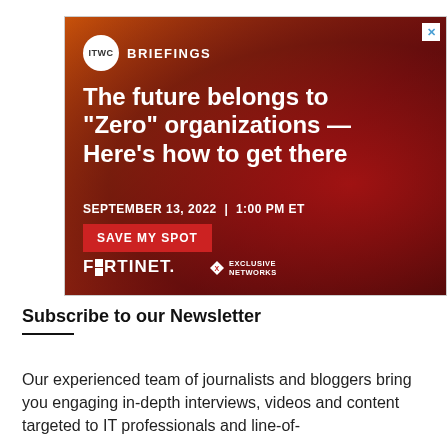[Figure (infographic): ITWC Briefings advertisement banner for a Fortinet and Exclusive Networks webinar. Dark red/orange gradient background with cybersecurity imagery. Headline: 'The future belongs to "Zero" organizations — Here's how to get there'. Date: SEPTEMBER 13, 2022 | 1:00 PM ET. CTA button: SAVE MY SPOT. Logos: FORTINET and EXCLUSIVE NETWORKS.]
Subscribe to our Newsletter
Our experienced team of journalists and bloggers bring you engaging in-depth interviews, videos and content targeted to IT professionals and line-of-